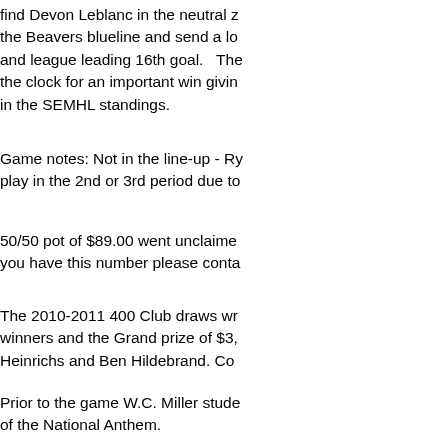find Devon Leblanc in the neutral z... the Beavers blueline and send a lo... and league leading 16th goal.   The... the clock for an important win givin... in the SEMHL standings.
Game notes: Not in the line-up - Ry... play in the 2nd or 3rd period due to...
50/50 pot of $89.00 went unclaime... you have this number please conta...
The 2010-2011 400 Club draws wr... winners and the Grand prize of $3,... Heinrichs and Ben Hildebrand. Co...
Prior to the game W.C. Miller stude... of the National Anthem.
Coach Jody Hildebrand was please... the game after allowing the Beaver... period with 2 quick goals tying the g...